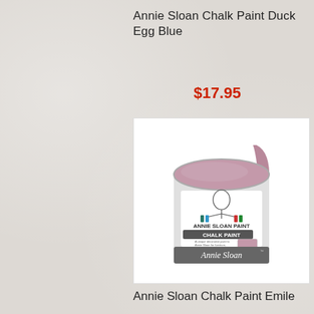Annie Sloan Chalk Paint Duck Egg Blue
$17.95
[Figure (photo): A tin of Annie Sloan Chalk Paint with a mauve/pink-purple color visible on top and dripping down the side. The label reads ANNIE SLOAN PAINT CHALK PAINT with the Annie Sloan signature logo at the bottom.]
Annie Sloan Chalk Paint Emile